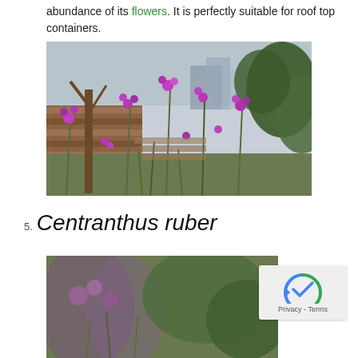abundance of its flowers. It is perfectly suitable for roof top containers.
[Figure (photo): Photo of purple/magenta flowering plants (likely Erysimum) growing in a rooftop garden with wooden decking, trees, and buildings in the background.]
5. Centranthus ruber
[Figure (photo): Partial photo of Centranthus ruber plants in a garden setting, showing purple/pink flowers and green foliage.]